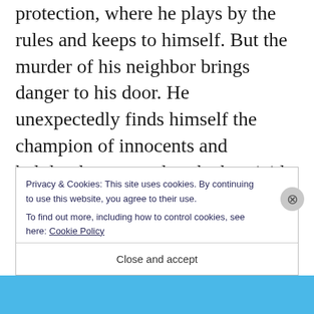protection, where he plays by the rules and keeps to himself. But the murder of his neighbor brings danger to his door. He unexpectedly finds himself the champion of innocents and helplessly attracted to the homicide detective in charge of the case.

This can't end well.

Homicide Detective Hank Axelrod is good at
[Figure (screenshot): Cookie consent banner overlay with text: 'Privacy & Cookies: This site uses cookies. By continuing to use this website, you agree to their use. To find out more, including how to control cookies, see here: Cookie Policy' and a 'Close and accept' button. An X close button is visible on the right side. A blue bar is visible at the bottom.]